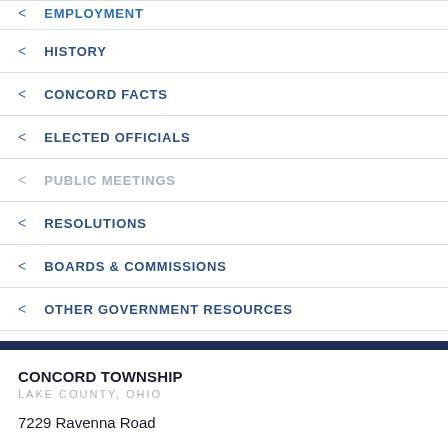EMPLOYMENT
HISTORY
CONCORD FACTS
ELECTED OFFICIALS
PUBLIC MEETINGS
RESOLUTIONS
BOARDS & COMMISSIONS
OTHER GOVERNMENT RESOURCES
CONCORD TOWNSHIP
LAKE COUNTY, OHIO
7229 Ravenna Road